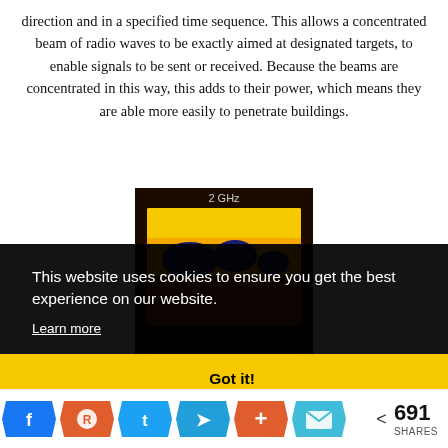direction and in a specified time sequence. This allows a concentrated beam of radio waves to be exactly aimed at designated targets, to enable signals to be sent or received. Because the beams are concentrated in this way, this adds to their power, which means they are able more easily to penetrate buildings.
[Figure (photo): Thermal/heat map image showing 2 GHz radio wave penetration, with orange, yellow, blue color gradient regions on dark background, labeled '2 GHz' at top.]
This website uses cookies to ensure you get the best experience on our website. Learn more
Got it!
< 691 SHARES (social share icons: Facebook, Reddit, Twitter, Telegram, More, Email)